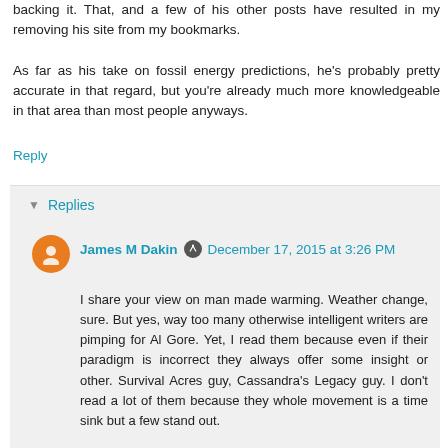backing it. That, and a few of his other posts have resulted in my removing his site from my bookmarks.
As far as his take on fossil energy predictions, he's probably pretty accurate in that regard, but you're already much more knowledgeable in that area than most people anyways.
Reply
Replies
James M Dakin  December 17, 2015 at 3:26 PM
I share your view on man made warming. Weather change, sure. But yes, way too many otherwise intelligent writers are pimping for Al Gore. Yet, I read them because even if their paradigm is incorrect they always offer some insight or other. Survival Acres guy, Cassandra's Legacy guy. I don't read a lot of them because they whole movement is a time sink but a few stand out.